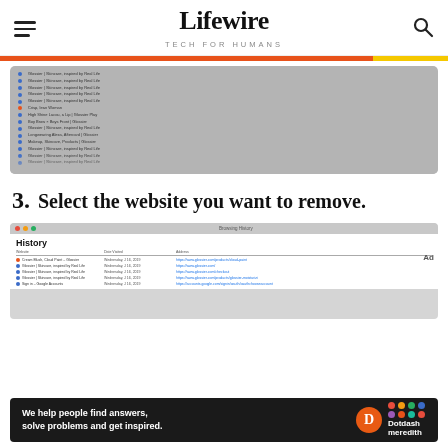Lifewire — TECH FOR HUMANS
[Figure (screenshot): Browser history list showing multiple Glossier website visits with dates around Jan 10-15 2019 and URLs]
3. Select the website you want to remove.
[Figure (screenshot): Browser History panel showing rows including Cream Blush, Cloud Paint, Glossier entries dated Wednesday Jan 16 2019 with URLs]
[Figure (infographic): Dotdash Meredith ad banner: We help people find answers, solve problems and get inspired.]